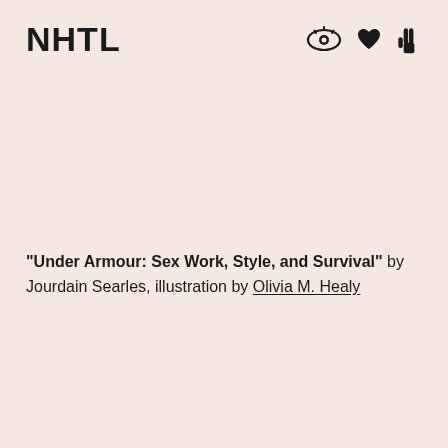NHTL
“Under Armour: Sex Work, Style, and Survival” by Jourdain Searles, illustration by Olivia M. Healy